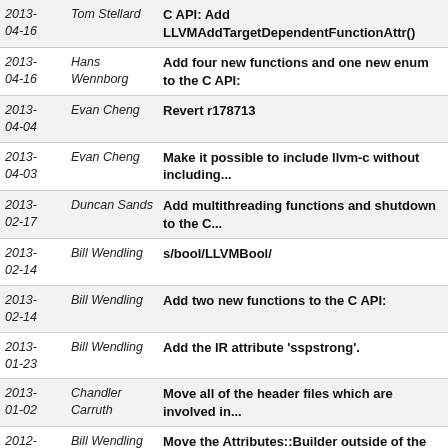| Date | Author | Commit Message |
| --- | --- | --- |
| 2013-04-16 | Tom Stellard | C API: Add LLVMAddTargetDependentFunctionAttr() |
| 2013-04-16 | Hans Wennborg | Add four new functions and one new enum to the C API: |
| 2013-04-04 | Evan Cheng | Revert r178713 |
| 2013-04-03 | Evan Cheng | Make it possible to include llvm-c without including... |
| 2013-02-17 | Duncan Sands | Add multithreading functions and shutdown to the C... |
| 2013-02-14 | Bill Wendling | s/bool/LLVMBool/ |
| 2013-02-14 | Bill Wendling | Add two new functions to the C API: |
| 2013-01-23 | Bill Wendling | Add the IR attribute 'sspstrong'. |
| 2013-01-02 | Chandler Carruth | Move all of the header files which are involved in... |
| 2012-10-15 | Bill Wendling | Move the Attributes::Builder outside of the Attributes... |
| 2012- | Bill Wendling | Use builder to create alignment attributes. |